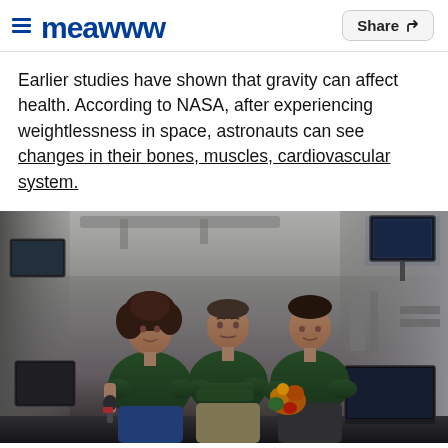≡ meawww  Share ↗
Earlier studies have shown that gravity can affect health. According to NASA, after experiencing weightlessness in space, astronauts can see changes in their bones, muscles, cardiovascular system.
[Figure (photo): Three astronauts in green polo shirts floating inside the International Space Station. A female astronaut on the left holds a microphone, a male astronaut in the center has his arms crossed, and a male astronaut on the right holds flowers. Various monitors and ISS equipment are visible in the background.]